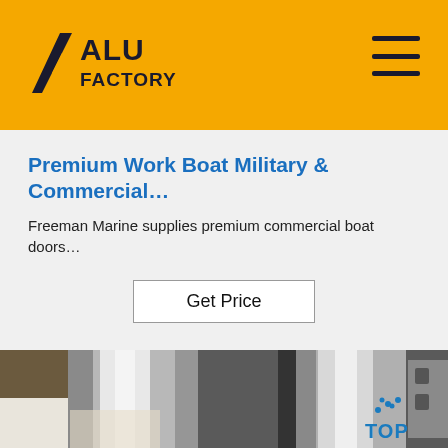ALU FACTORY
Premium Work Boat Military & Commercial...
Freeman Marine supplies premium commercial boat doors…
Get Price
[Figure (photo): Close-up photo of shiny polished aluminum cylindrical tubes/columns, showing reflective metallic surface, with packaging visible in background and a blue 'TOP' watermark logo in lower right corner.]